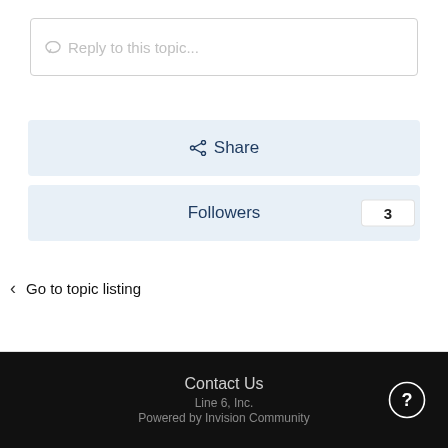Reply to this topic...
Share
Followers  3
Go to topic listing
Contact Us
Line 6, Inc.
Powered by Invision Community